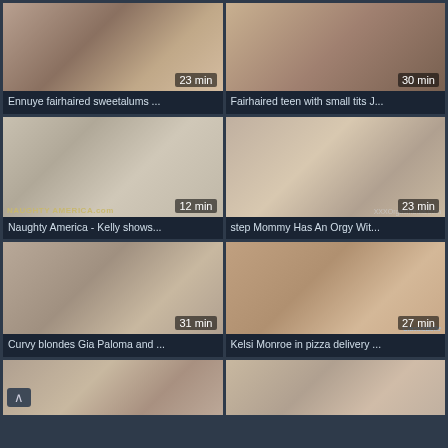[Figure (screenshot): Video thumbnail grid showing adult video titles with durations]
Ennuye fairhaired sweetalums ...
Fairhaired teen with small tits J...
Naughty America - Kelly shows...
step Mommy Has An Orgy Wit...
Curvy blondes Gia Paloma and ...
Kelsi Monroe in pizza delivery ...